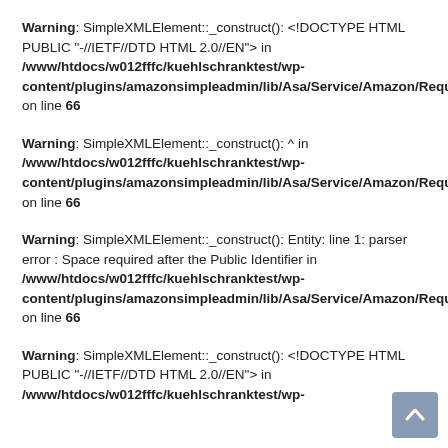Warning: SimpleXMLElement::_construct(): <!DOCTYPE HTML PUBLIC "-//IETF//DTD HTML 2.0//EN"> in /www/htdocs/w012fffc/kuehlschranktest/wp-content/plugins/amazonsimpleadmin/lib/Asa/Service/Amazon/Request/Abstract.php on line 66
Warning: SimpleXMLElement::_construct(): ^ in /www/htdocs/w012fffc/kuehlschranktest/wp-content/plugins/amazonsimpleadmin/lib/Asa/Service/Amazon/Request/Abstract.php on line 66
Warning: SimpleXMLElement::_construct(): Entity: line 1: parser error : Space required after the Public Identifier in /www/htdocs/w012fffc/kuehlschranktest/wp-content/plugins/amazonsimpleadmin/lib/Asa/Service/Amazon/Request/Abstract.php on line 66
Warning: SimpleXMLElement::_construct(): <!DOCTYPE HTML PUBLIC "-//IETF//DTD HTML 2.0//EN"> in /www/htdocs/w012fffc/kuehlschranktest/wp-...